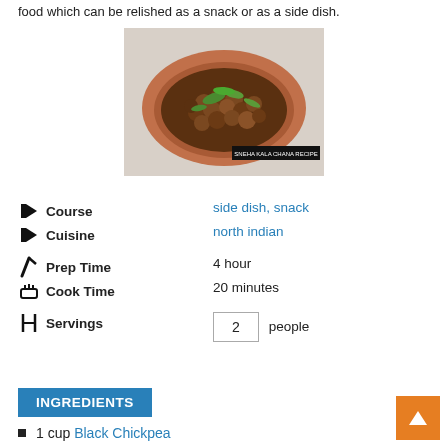food which can be relished as a snack or as a side dish.
[Figure (photo): Photo of a bowl of kala chana (black chickpeas) garnished with fresh green herbs/cilantro, served in a terracotta bowl. Watermark text reads: SNEHA KALA CHANA RECIPE]
Course
side dish, snack
Cuisine
north indian
Prep Time
4 hour
Cook Time
20 minutes
Servings
2 people
INGREDIENTS
1 cup Black Chickpea